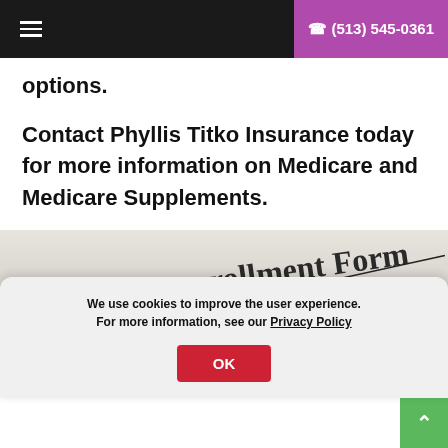≡  ☎ (513) 545-0361
options.
Contact Phyllis Titko Insurance today for more information on Medicare and Medicare Supplements.
[Figure (photo): Partial view of an enrollment form document with text 'rollment Form' and 'INSURED'S I.D. N' and 'RED'S NA' and 'NSURED'S' visible]
We use cookies to improve the user experience. For more information, see our Privacy Policy
OK